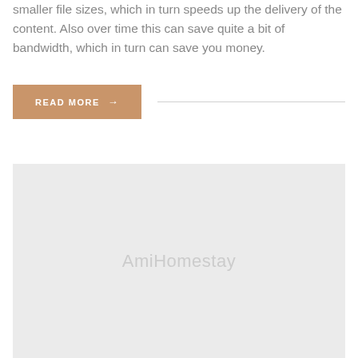smaller file sizes, which in turn speeds up the delivery of the content. Also over time this can save quite a bit of bandwidth, which in turn can save you money.
READ MORE →
[Figure (illustration): Gray placeholder image area with watermark text 'AmiHomestay' in light gray]